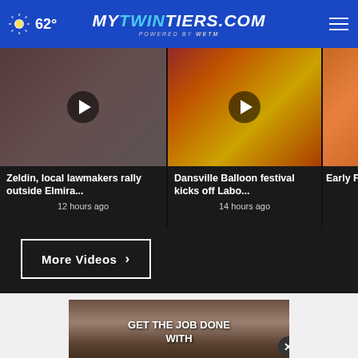62° mytwintiers.com
[Figure (screenshot): Video thumbnail showing people, with play button overlay. Title: Zeldin, local lawmakers rally outside Elmira... 12 hours ago]
[Figure (screenshot): Video thumbnail showing hot air balloons, with play button overlay. Title: Dansville Balloon festival kicks off Labo... 14 hours ago]
[Figure (screenshot): Partial video thumbnail with text: Early Fall Fo...]
More Videos ›
[Figure (photo): Advertisement image showing person working with tools. Text: GET THE JOB DONE WITH]
[Figure (infographic): CCU Corning Credit Union banner ad. Text: OUR CHECKING PAYS YOU. 2.00% ANNUAL PERCENTAGE YIELD. FEDERALLY INSURED BY NCUA. GET STARTED]